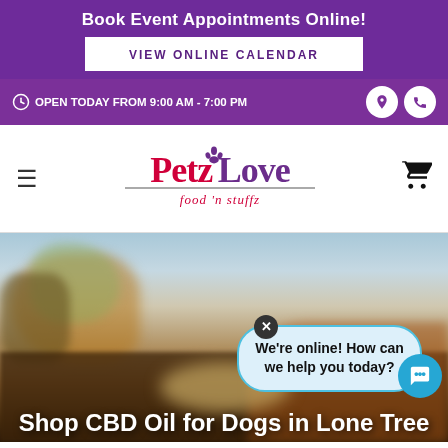Book Event Appointments Online!
VIEW ONLINE CALENDAR
OPEN TODAY FROM 9:00 AM - 7:00 PM
[Figure (logo): PetzLove food 'n stuffz logo with paw print icon]
[Figure (photo): Outdoor blurred background photo with a dog, autumnal trees and sky, with text overlay 'Shop CBD Oil for Dogs in Lone Tree']
We're online! How can we help you today?
Shop CBD Oil for Dogs in Lone Tree